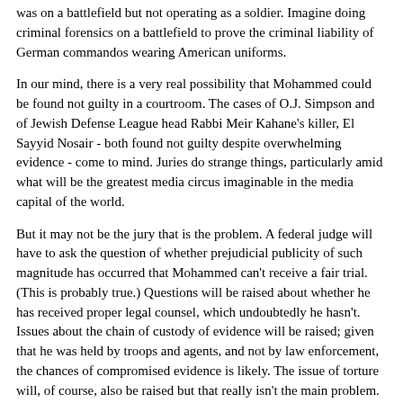was on a battlefield but not operating as a soldier. Imagine doing criminal forensics on a battlefield to prove the criminal liability of German commandos wearing American uniforms.
In our mind, there is a very real possibility that Mohammed could be found not guilty in a courtroom. The cases of O.J. Simpson and of Jewish Defense League head Rabbi Meir Kahane's killer, El Sayyid Nosair - both found not guilty despite overwhelming evidence - come to mind. Juries do strange things, particularly amid what will be the greatest media circus imaginable in the media capital of the world.
But it may not be the jury that is the problem. A federal judge will have to ask the question of whether prejudicial publicity of such magnitude has occurred that Mohammed can't receive a fair trial. (This is probably true.) Questions will be raised about whether he has received proper legal counsel, which undoubtedly he hasn't. Issues about the chain of custody of evidence will be raised; given that he was held by troops and agents, and not by law enforcement, the chances of compromised evidence is likely. The issue of torture will, of course, also be raised but that really isn't the main problem. How do you try a man under U.S. legal procedures who was captured in a third country by non-law enforcement personnel, and who has been in military custody for seven years?
There is a nontrivial possibility that he will be acquitted or have his case thrown out of court, which would be a foreign policy disaster for the United States. Some might view it as a sign of American adherence to the rule of law, and some might view it that Mohammed was...